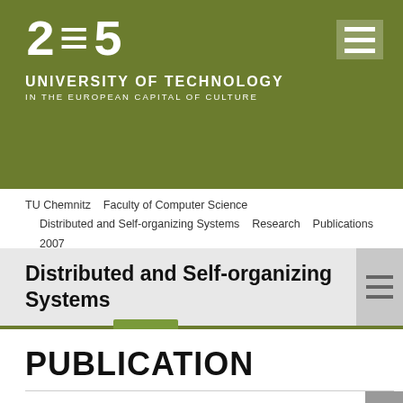[Figure (logo): TU Chemnitz 2025 University of Technology logo on olive green background with pixelated '2025' text]
TU Chemnitz   Faculty of Computer Science   Distributed and Self-organizing Systems   Research   Publications   2007   The Web as an Application Platform
Distributed and Self-organizing Systems
PUBLICATION
THE WEB AS AN APPLICATION PLATFORM